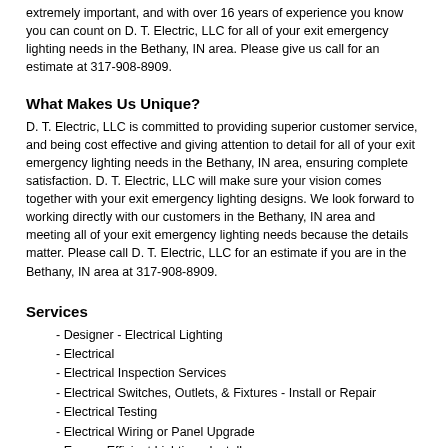extremely important, and with over 16 years of experience you know you can count on D. T. Electric, LLC for all of your exit emergency lighting needs in the Bethany, IN area. Please give us call for an estimate at 317-908-8909.
What Makes Us Unique?
D. T. Electric, LLC is committed to providing superior customer service, and being cost effective and giving attention to detail for all of your exit emergency lighting needs in the Bethany, IN area, ensuring complete satisfaction. D. T. Electric, LLC will make sure your vision comes together with your exit emergency lighting designs. We look forward to working directly with our customers in the Bethany, IN area and meeting all of your exit emergency lighting needs because the details matter. Please call D. T. Electric, LLC for an estimate if you are in the Bethany, IN area at 317-908-8909.
Services
- Designer - Electrical Lighting
- Electrical
- Electrical Inspection Services
- Electrical Switches, Outlets, & Fixtures - Install or Repair
- Electrical Testing
- Electrical Wiring or Panel Upgrade
- Energy Efficient Lighting - Install
- Generator - Install